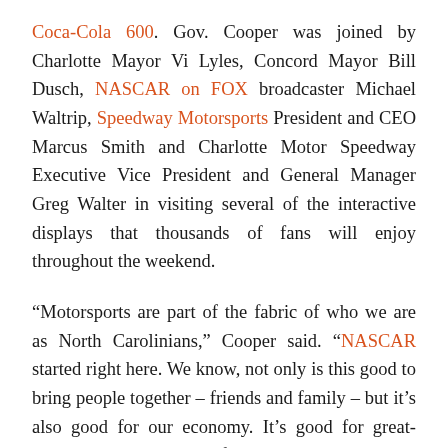Coca-Cola 600. Gov. Cooper was joined by Charlotte Mayor Vi Lyles, Concord Mayor Bill Dusch, NASCAR on FOX broadcaster Michael Waltrip, Speedway Motorsports President and CEO Marcus Smith and Charlotte Motor Speedway Executive Vice President and General Manager Greg Walter in visiting several of the interactive displays that thousands of fans will enjoy throughout the weekend.
“Motorsports are part of the fabric of who we are as North Carolinians,” Cooper said. “NASCAR started right here. We know, not only is this good to bring people together – friends and family – but it’s also good for our economy. It’s good for great-paying jobs. It’s good for tourism. With Speed Street – I’ve been to it many times – it’s great to bring it here, closer to the